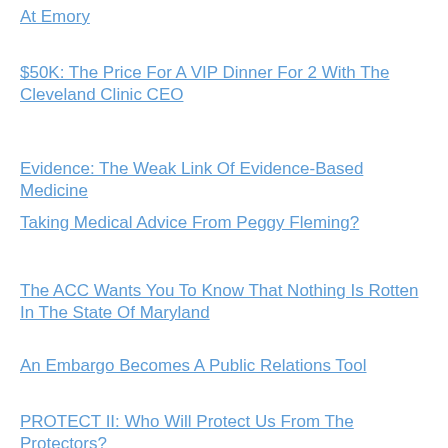At Emory
$50K: The Price For A VIP Dinner For 2 With The Cleveland Clinic CEO
Evidence: The Weak Link Of Evidence-Based Medicine
Taking Medical Advice From Peggy Fleming?
The ACC Wants You To Know That Nothing Is Rotten In The State Of Maryland
An Embargo Becomes A Public Relations Tool
PROTECT II: Who Will Protect Us From The Protectors?